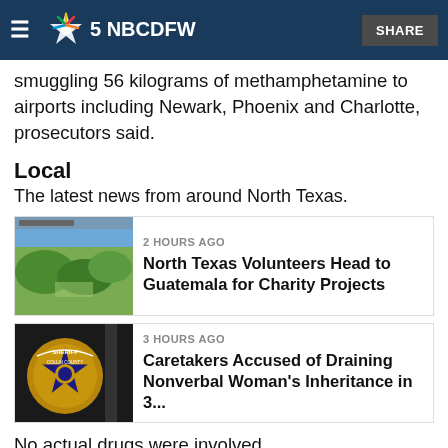NBC DFW
As part of the operation, authorities thought the smuggling 56 kilograms of methamphetamine to airports including Newark, Phoenix and Charlotte, prosecutors said.
Local
The latest news from around North Texas.
[Figure (photo): Aerial view of green hilly landscape]
2 HOURS AGO
North Texas Volunteers Head to Guatemala for Charity Projects
[Figure (photo): Collin County Sheriff badge close-up]
3 HOURS AGO
Caretakers Accused of Draining Nonverbal Woman's Inheritance in 3...
No actual drugs were involved.
The workers also agreed to smuggle explosives and